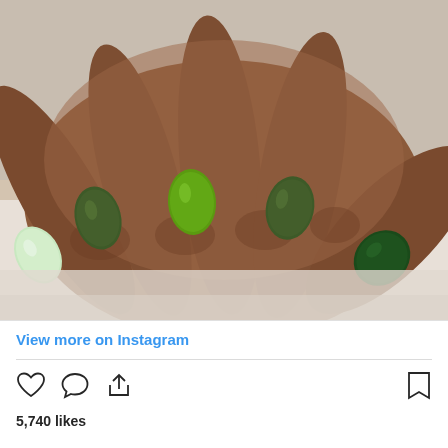[Figure (photo): Close-up photo of a dark-skinned hand with manicured nails painted in various shades of green — dark olive on the index and ring fingers, light mint on the pinky, bright lime green on the middle finger, and deep forest green on the thumb.]
View more on Instagram
5,740 likes